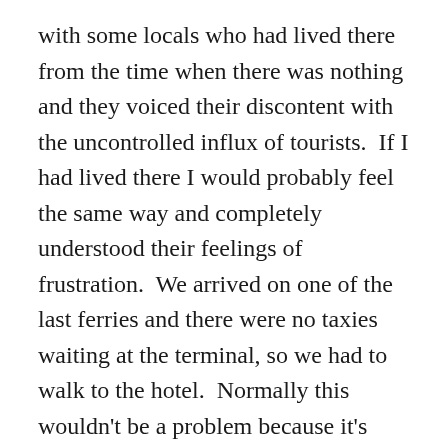with some locals who had lived there from the time when there was nothing and they voiced their discontent with the uncontrolled influx of tourists.  If I had lived there I would probably feel the same way and completely understood their feelings of frustration.  We arrived on one of the last ferries and there were no taxies waiting at the terminal, so we had to walk to the hotel.  Normally this wouldn't be a problem because it's really not that far, but… we don't travel light, and so we had to drag a few large bags through the dirt roads of Holbox.  But it was worth it.  Swimming with the whale sharks was an experience that none of us will ever forget.  It takes a good 2 hours by boat to get to the place where they swim.  We spotted one